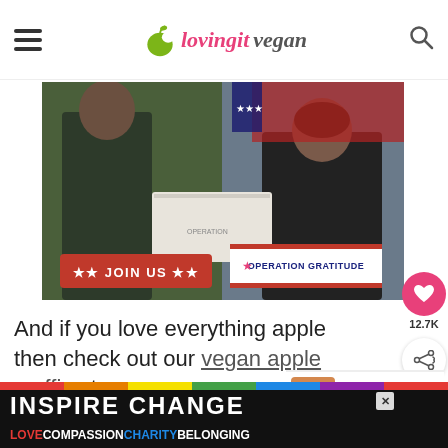loving it vegan
[Figure (photo): Two people exchanging a white box — one in military camouflage uniform, one in black clothing — with overlay badges reading JOIN US and OPERATION GRATITUDE]
And if you love everything apple then check out our vegan apple muffins too.
[Figure (photo): WHAT'S NEXT — Vegan Pineapple... thumbnail with cookie image]
[Figure (infographic): Bottom advertisement: INSPIRE CHANGE / LOVE COMPASSION CHARITY BELONGING with rainbow stripe and dark background]